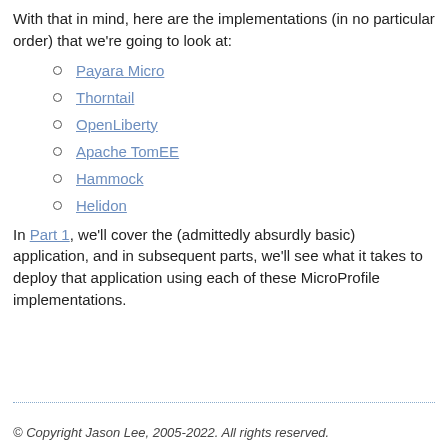With that in mind, here are the implementations (in no particular order) that we're going to look at:
Payara Micro
Thorntail
OpenLiberty
Apache TomEE
Hammock
Helidon
In Part 1, we'll cover the (admittedly absurdly basic) application, and in subsequent parts, we'll see what it takes to deploy that application using each of these MicroProfile implementations.
© Copyright Jason Lee, 2005-2022. All rights reserved.